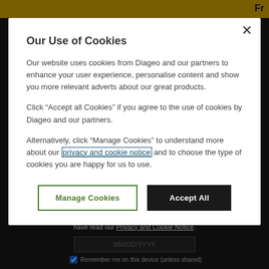Our Use of Cookies
Our website uses cookies from Diageo and our partners to enhance your user experience, personalise content and show you more relevant adverts about our great products.
Click “Accept all Cookies” if you agree to the use of cookies by Diageo and our partners.
Alternatively, click “Manage Cookies” to understand more about our privacy and cookie notice and to choose the type of cookies you are happy for us to use.
This site uses cookies and by entering you acknowledge that you have read our Privacy and Cookie Notice.
Remember me on this device (unless shared)